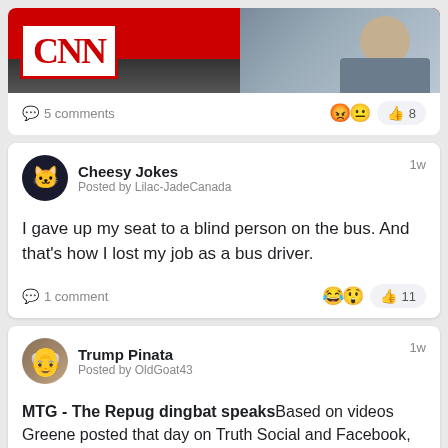[Figure (screenshot): Partial CNN news card showing CNN logo on red background with man in suit visible, with 5 comments and 8 likes reactions (angry and neutral face emojis)]
5 comments
8
Cheesy Jokes
Posted by Lilac-JadeCanada
1w
I gave up my seat to a blind person on the bus. And that's how I lost my job as a bus driver.
1 comment
11
Trump Pinata
Posted by OldGoat43
1w
MTG - The Repug dingbat speaksBased on videos Greene posted that day on Truth Social and Facebook, features the conversation with